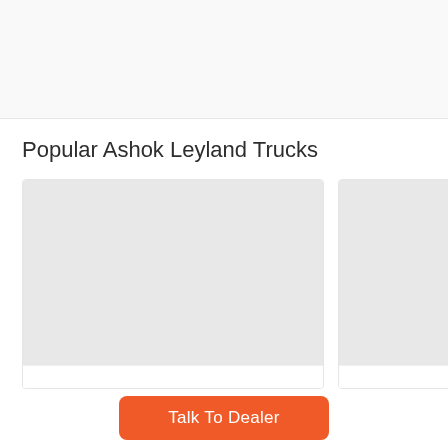[Figure (other): Top banner area with light gray background]
Popular Ashok Leyland Trucks
[Figure (other): Left truck card with gray image placeholder and white bottom bar]
[Figure (other): Right truck card with gray image placeholder and white bottom bar, partially visible]
Talk To Dealer